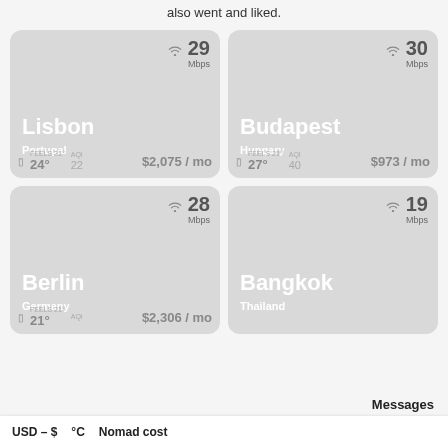also went and liked.
[Figure (infographic): City card for Lisbon, Portugal. WiFi: 29 Mbps. Temperature feels 24°, AQI 22. Cost: $2,075/mo.]
[Figure (infographic): City card for Budapest, Hungary. WiFi: 30 Mbps. Temperature feels 27°, AQI 40. Cost: $973/mo.]
[Figure (infographic): City card for Berlin, Germany. WiFi: 28 Mbps. Cost: $2,306/mo.]
[Figure (infographic): City card for Bangkok, Thailand. WiFi: 19 Mbps.]
Messages
USD – $  °C  Nomad cost